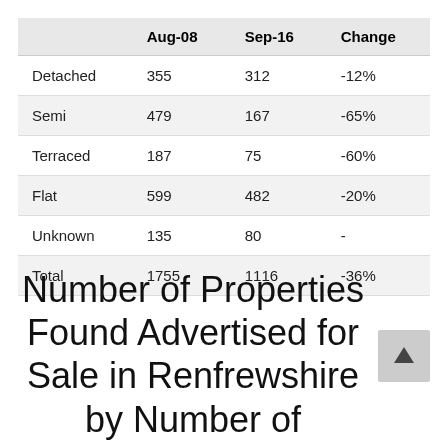|  | Aug-08 | Sep-16 | Change |
| --- | --- | --- | --- |
| Detached | 355 | 312 | -12% |
| Semi | 479 | 167 | -65% |
| Terraced | 187 | 75 | -60% |
| Flat | 599 | 482 | -20% |
| Unknown | 135 | 80 | - |
| Total | 1755 | 1116 | -36% |
Number of Properties Found Advertised for Sale in Renfrewshire by Number of Bedrooms